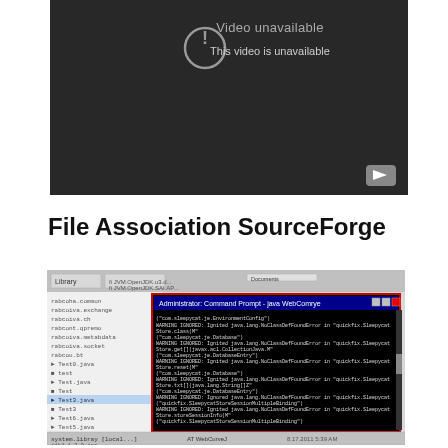[Figure (screenshot): YouTube-style video player showing 'Video unavailable / This video is unavailable' message on dark background with YouTube play button icon in bottom-right corner.]
File Association SourceForge
[Figure (screenshot): Screenshot of a file manager or IDE with a file panel on the left showing Java files (rabcoha.common, rabcoiva.exchange, etc.) and a Windows Administrator Command Prompt window overlaid showing Java NoClassDefFoundError warnings related to quickfix.SleepyratStore and org.apache.mina.Filter.]